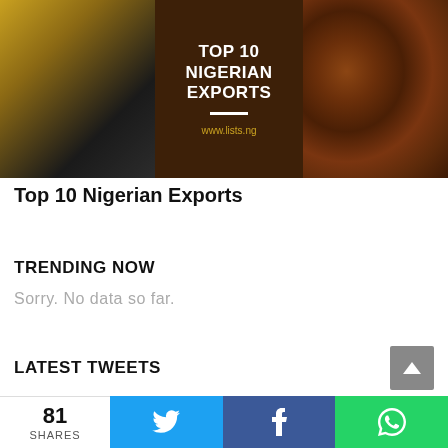[Figure (infographic): Banner image for Top 10 Nigerian Exports article. Left side shows dark olive oil or similar liquid product. Center panel has dark brown background with white bold text 'TOP 10 NIGERIAN EXPORTS', a white horizontal line, and URL 'www.lists.ng' in yellow. Right side shows cocoa beans close-up.]
Top 10 Nigerian Exports
TRENDING NOW
Sorry. No data so far.
LATEST TWEETS